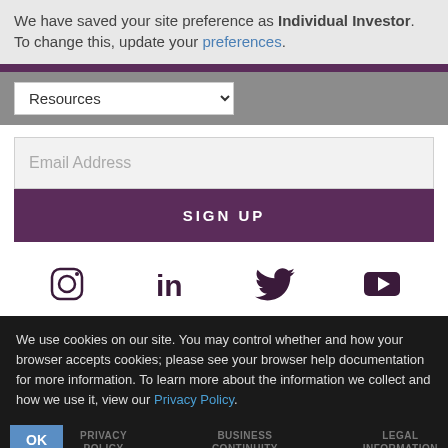We have saved your site preference as Individual Investor. To change this, update your preferences.
Resources (dropdown)
Email Address (input field)
SIGN UP
[Figure (infographic): Social media icons: Instagram, LinkedIn, Twitter, YouTube]
We use cookies on our site. You may control whether and how your browser accepts cookies; please see your browser help documentation for more information. To learn more about the information we collect and how we use it, view our Privacy Policy.
PRIVACY POLICY   BUSINESS CONTINUITY   LEGAL INFORMATION